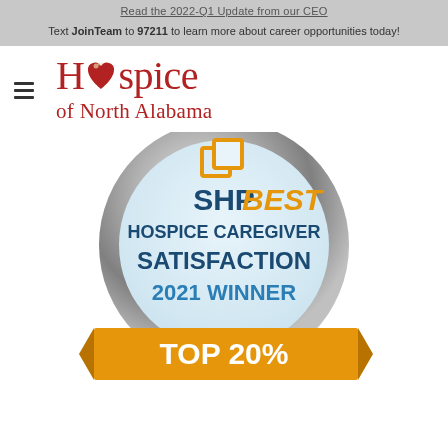Read the 2022-Q1 Update from our CEO
Text JoinTeam to 97211 to learn more about career opportunities today!
[Figure (logo): Hospice of North Alabama logo with red heart replacing the 'o' in Hospice]
[Figure (other): SHP Best Hospice Caregiver Satisfaction 2021 Winner Top 20% award badge - circular silver medal with light blue interior, orange SHP logo icon, dark blue and orange text, orange ribbon banner at bottom with white TOP 20% text]